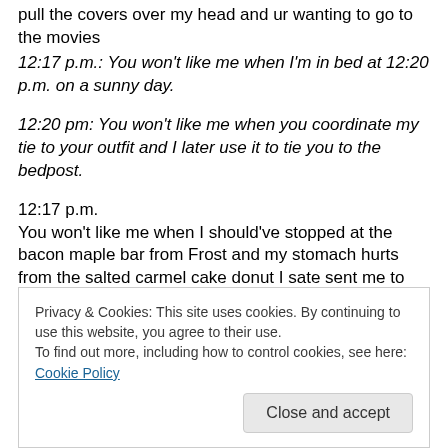pull the covers over my head and ur wanting to go to the movies
12:17 p.m.: You won't like me when I'm in bed at 12:20 p.m. on a sunny day.
12:20 pm: You won't like me when you coordinate my tie to your outfit and I later use it to tie you to the bedpost.
12:17 p.m.
You won't like me when I should've stopped at the bacon maple bar from Frost and my stomach hurts from the salted carmel cake donut I sate sent me to the couch with
Privacy & Cookies: This site uses cookies. By continuing to use this website, you agree to their use.
To find out more, including how to control cookies, see here: Cookie Policy
Close and accept